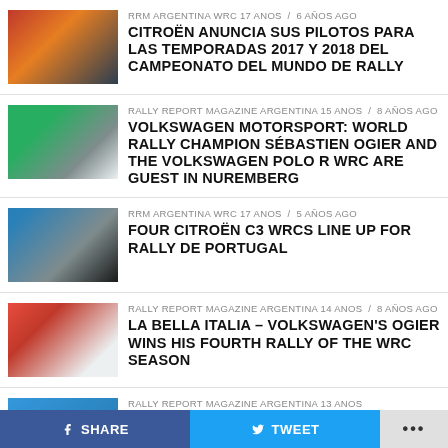[Figure (photo): Orange/red rally car viewed from rear, dark background]
RRM ARGENTINA WRC 17 ANOS / 6 años ago
CITROËN ANUNCIA SUS PILOTOS PARA LAS TEMPORADAS 2017 Y 2018 DEL CAMPEONATO DEL MUNDO DE RALLY
[Figure (photo): White Volkswagen Polo WRC rally car on dirt road]
RALLY REPORT MAGAZINE ARGENTINA 15 ANOS / 8 años ago
VOLKSWAGEN MOTORSPORT: WORLD RALLY CHAMPION SÉBASTIEN OGIER AND THE VOLKSWAGEN POLO R WRC ARE GUEST IN NUREMBERG
[Figure (photo): Rally car mid-air jump, action shot]
RRM ARGENTINA WRC 17 ANOS / 5 años ago
FOUR CITROËN C3 WRCs LINE UP FOR RALLY DE PORTUGAL
[Figure (photo): Group photo at rally podium/ceremony]
RALLY REPORT MAGAZINE ARGENTINA 14 ANOS / 8 años ago
LA BELLA ITALIA – VOLKSWAGEN'S OGIER WINS HIS FOURTH RALLY OF THE WRC SEASON
RALLY REPORT MAGAZINE ARGENTINA 13 ANOS
f SHARE   🐦 TWEET   ...